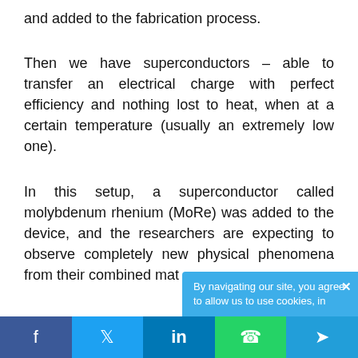and added to the fabrication process.
Then we have superconductors – able to transfer an electrical charge with perfect efficiency and nothing lost to heat, when at a certain temperature (usually an extremely low one).
In this setup, a superconductor called molybdenum rhenium (MoRe) was added to the device, and the researchers are expecting to observe completely new physical phenomena from their combined mat…